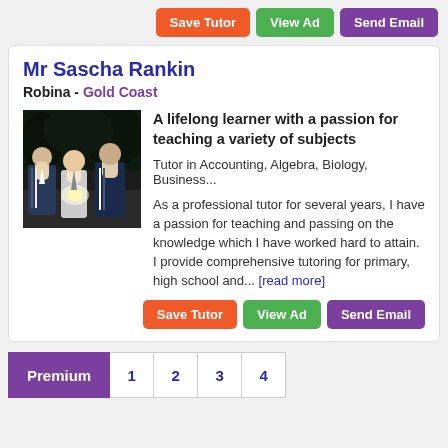Save Tutor | View Ad | Send Email
Mr Sascha Rankin
Robina - Gold Coast
[Figure (photo): Photo of three people, likely students in school uniforms, in a dark/nighttime setting]
A lifelong learner with a passion for teaching a variety of subjects
Tutor in Accounting, Algebra, Biology, Business...
As a professional tutor for several years, I have a passion for teaching and passing on the knowledge which I have worked hard to attain. I provide comprehensive tutoring for primary, high school and... [read more]
Save Tutor | View Ad | Send Email
Premium | 1 | 2 | 3 | 4